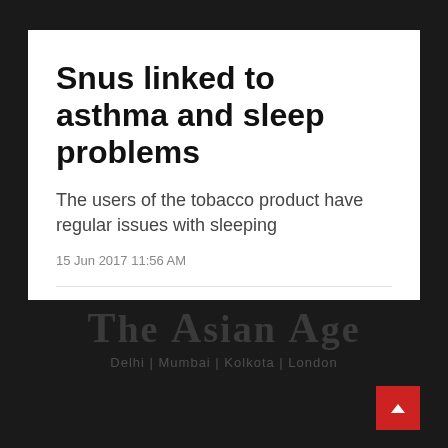Snus linked to asthma and sleep problems
The users of the tobacco product have regular issues with sleeping
15 Jun 2017 11:56 AM
[Figure (logo): The Asian Age newspaper watermark logo with text 'The Asian Age' and subtitle 'Delhi | Mumbai | Kolkota | London']